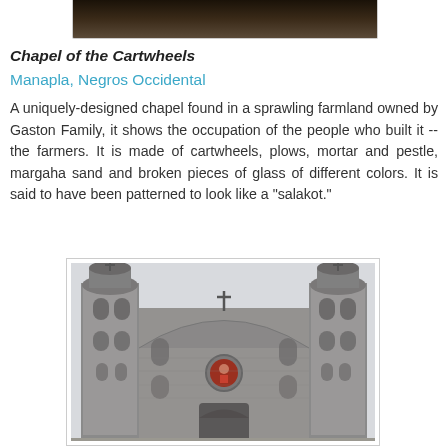[Figure (photo): Top portion of a photo showing a dark interior or exterior scene, partially cropped at top of page]
Chapel of the Cartwheels
Manapla, Negros Occidental
A uniquely-designed chapel found in a sprawling farmland owned by Gaston Family, it shows the occupation of the people who built it --the farmers. It is made of cartwheels, plows, mortar and pestle, margaha sand and broken pieces of glass of different colors. It is said to have been patterned to look like a "salakot."
[Figure (photo): Photo of a stone church facade with two towers, ornate entrance, and a figure visible in a circular window above the main door]